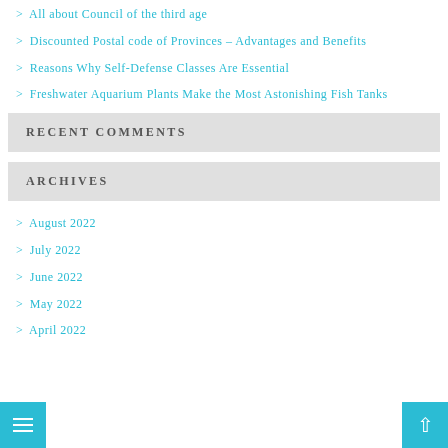> All about Council of the third age
> Discounted Postal code of Provinces - Advantages and Benefits
> Reasons Why Self-Defense Classes Are Essential
> Freshwater Aquarium Plants Make the Most Astonishing Fish Tanks
RECENT COMMENTS
ARCHIVES
> August 2022
> July 2022
> June 2022
> May 2022
> April 2022